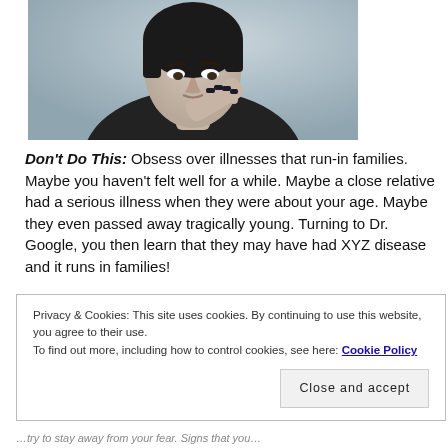[Figure (photo): A person with short dark hair and dark nail polish, holding their hand to their mouth in a worried or anxious pose, against a muted blue-grey background.]
Don't Do This: Obsess over illnesses that run-in families. Maybe you haven't felt well for a while. Maybe a close relative had a serious illness when they were about your age. Maybe they even passed away tragically young. Turning to Dr. Google, you then learn that they may have had XYZ disease and it runs in families!
Privacy & Cookies: This site uses cookies. By continuing to use this website, you agree to their use.
To find out more, including how to control cookies, see here: Cookie Policy
Close and accept